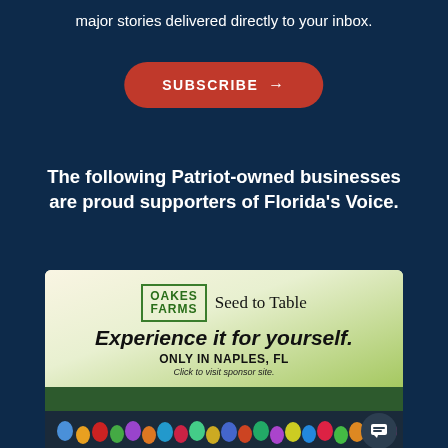major stories delivered directly to your inbox.
[Figure (other): Red subscribe button with arrow and text 'SUBSCRIBE →']
The following Patriot-owned businesses are proud supporters of Florida's Voice.
[Figure (other): Advertisement for Oakes Farms Seed to Table store in Naples, FL. Shows logo, tagline 'Experience it for yourself. ONLY IN NAPLES, FL. Click to visit sponsor site.' with photo of store exterior and crowd of people.]